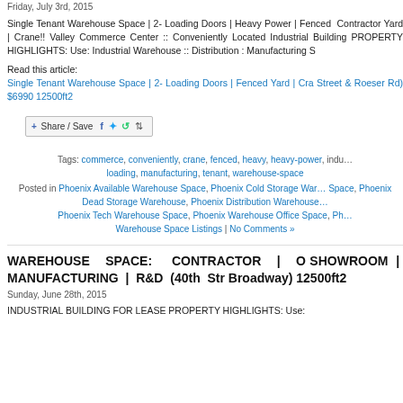Friday, July 3rd, 2015
Single Tenant Warehouse Space | 2- Loading Doors | Heavy Power | Fenced Contractor Yard | Crane!! Valley Commerce Center :: Conveniently Located Industrial Building PROPERTY HIGHLIGHTS: Use: Industrial Warehouse :: Distribution : Manufacturing S
Read this article:
Single Tenant Warehouse Space | 2- Loading Doors | Fenced Yard | Cra… Street & Roeser Rd) $6990 12500ft2
[Figure (other): Share / Save social sharing button with Facebook, Twitter and other icons]
Tags: commerce, conveniently, crane, fenced, heavy, heavy-power, indu… loading, manufacturing, tenant, warehouse-space
Posted in Phoenix Available Warehouse Space, Phoenix Cold Storage War… Space, Phoenix Dead Storage Warehouse, Phoenix Distribution Warehouse… Phoenix Tech Warehouse Space, Phoenix Warehouse Office Space, Ph… Warehouse Space Listings | No Comments »
WAREHOUSE SPACE: CONTRACTOR | O SHOWROOM | MANUFACTURING | R&D (40th Str Broadway) 12500ft2
Sunday, June 28th, 2015
INDUSTRIAL BUILDING FOR LEASE PROPERTY HIGHLIGHTS: Use: